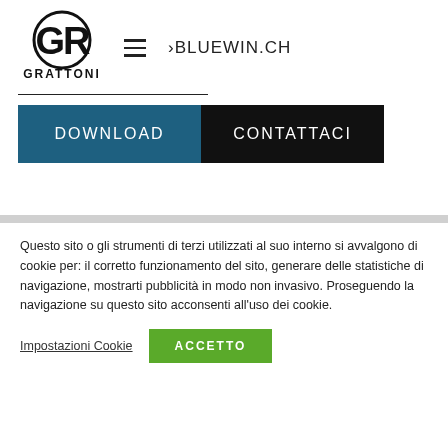[Figure (logo): Grattoni logo - GR monogram in circle with GRATTONI text below]
›BLUEWIN.CH
DOWNLOAD   CONTATTACI
Questo sito o gli strumenti di terzi utilizzati al suo interno si avvalgono di cookie per: il corretto funzionamento del sito, generare delle statistiche di navigazione, mostrarti pubblicità in modo non invasivo. Proseguendo la navigazione su questo sito acconsenti all'uso dei cookie.
Impostazioni Cookie
ACCETTO